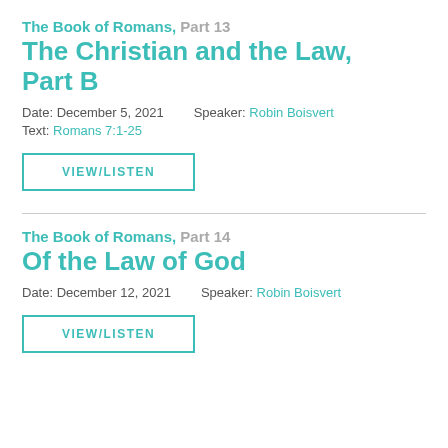The Book of Romans, Part 13
The Christian and the Law, Part B
Date: December 5, 2021   Speaker: Robin Boisvert
Text: Romans 7:1-25
VIEW/LISTEN
The Book of Romans, Part 14
Of the Law of God
Date: December 12, 2021   Speaker: Robin Boisvert
VIEW/LISTEN